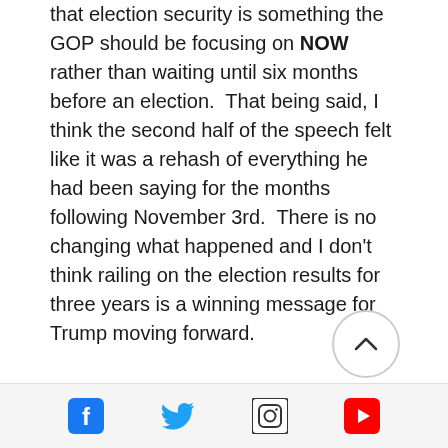that election security is something the GOP should be focusing on NOW rather than waiting until six months before an election.  That being said, I think the second half of the speech felt like it was a rehash of everything he had been saying for the months following November 3rd.  There is no changing what happened and I don't think railing on the election results for three years is a winning message for Trump moving forward.

His focus on the election will also give the media exactly what it is looking for, clips that the can use to distract from the good points he made earlier on in
[Figure (other): Circular scroll-to-top button with upward chevron arrow]
[Figure (other): Social media icon bar with Facebook, Twitter, Instagram, and YouTube icons]